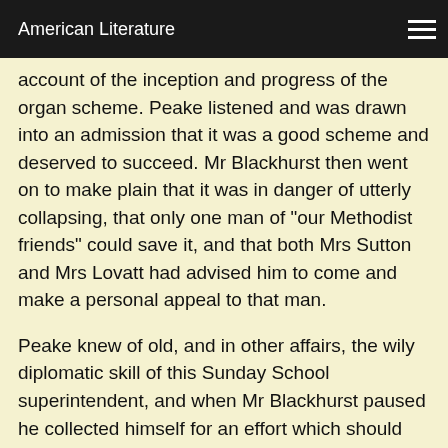American Literature
account of the inception and progress of the organ scheme. Peake listened and was drawn into an admission that it was a good scheme and deserved to succeed. Mr Blackhurst then went on to make plain that it was in danger of utterly collapsing, that only one man of "our Methodist friends" could save it, and that both Mrs Sutton and Mrs Lovatt had advised him to come and make a personal appeal to that man.
Peake knew of old, and in other affairs, the wily diplomatic skill of this Sunday School superintendent, and when Mr Blackhurst paused he collected himself for an effort which should conclude